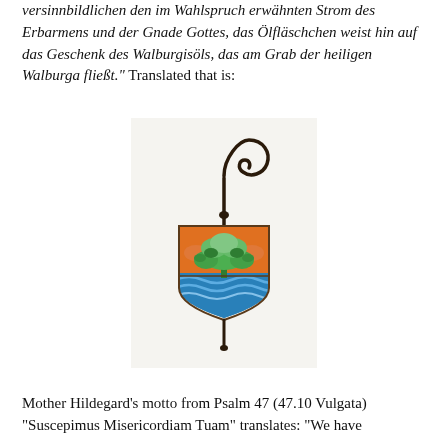versinnbildlichen den im Wahlspruch erwähnten Strom des Erbarmens und der Gnade Gottes, das Ölfläschchen weist hin auf das Geschenk des Walburgisöls, das am Grab der heiligen Walburga fließt." Translated that is:
[Figure (illustration): A coat of arms or heraldic badge on a light background. The shield has an orange/red upper half with a green tree/plant, and a blue lower half with wavy lines suggesting water. Above the shield is a black bishop's crozier (pastoral staff) with a spiral top. Below the shield is a pointed finial or pin.]
Mother Hildegard's motto from Psalm 47 (47.10 Vulgata) "Suscepimus Misericordiam Tuam" translates: "We have